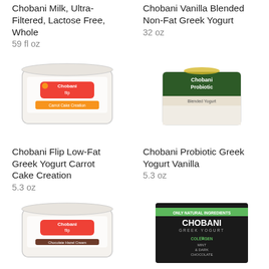Chobani Milk, Ultra-Filtered, Lactose Free, Whole
59 fl oz
Chobani Vanilla Blended Non-Fat Greek Yogurt
32 oz
[Figure (photo): Chobani Flip Low-Fat Greek Yogurt Carrot Cake Creation container]
[Figure (photo): Chobani Probiotic Greek Yogurt Vanilla cup]
Chobani Flip Low-Fat Greek Yogurt Carrot Cake Creation
5.3 oz
Chobani Probiotic Greek Yogurt Vanilla
5.3 oz
[Figure (photo): Chobani Flip yogurt container, Chocolate Hazel Cream]
[Figure (photo): Chobani Greek Yogurt Mint & Dark Chocolate multi-pack box]